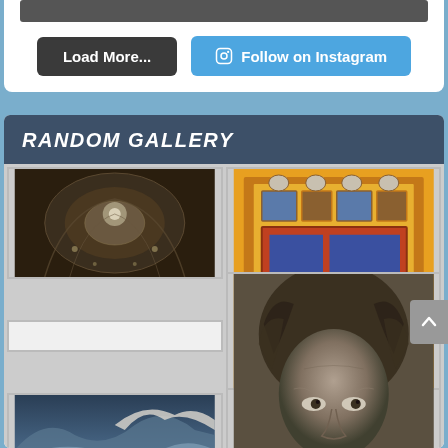[Figure (screenshot): Top dark image bar (partial, cropped at top of page)]
Load More...
Follow on Instagram
RANDOM GALLERY
[Figure (photo): Interior dome of an ornate church or cathedral, viewed from below, with elaborate architectural details and lighting]
[Figure (photo): Ornate decorative cabinet or chest of drawers with colorful painted panels and gilded frame]
[Figure (photo): Surfer riding a large ocean wave with spray]
[Figure (photo): Close-up black and white portrait of an older man with long hair]
[Figure (photo): Partially visible photo at bottom left, content unclear]